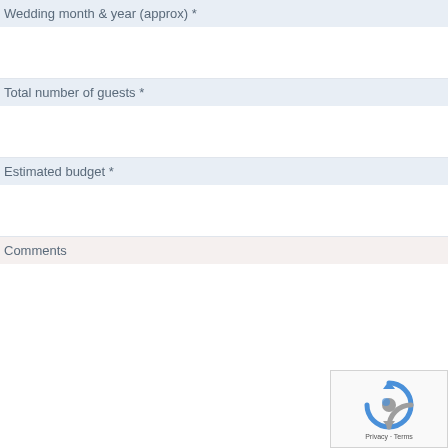Wedding month & year (approx) *
Total number of guests *
Estimated budget *
Comments
[Figure (other): reCAPTCHA widget with spinning arrows logo and Privacy - Terms text]